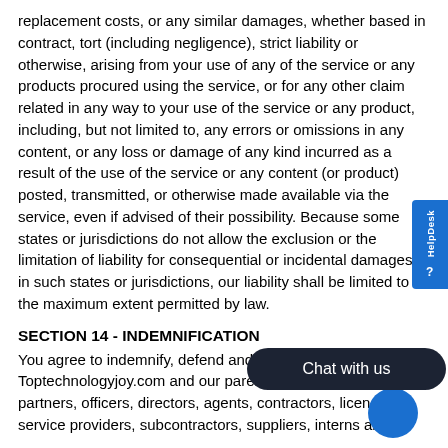replacement costs, or any similar damages, whether based in contract, tort (including negligence), strict liability or otherwise, arising from your use of any of the service or any products procured using the service, or for any other claim related in any way to your use of the service or any product, including, but not limited to, any errors or omissions in any content, or any loss or damage of any kind incurred as a result of the use of the service or any content (or product) posted, transmitted, or otherwise made available via the service, even if advised of their possibility. Because some states or jurisdictions do not allow the exclusion or the limitation of liability for consequential or incidental damages, in such states or jurisdictions, our liability shall be limited to the maximum extent permitted by law.
SECTION 14 - INDEMNIFICATION
You agree to indemnify, defend and hold harmless Toptechnologyjoy.com and our parent, subsidiaries, affiliates, partners, officers, directors, agents, contractors, licensors, service providers, subcontractors, suppliers, interns and